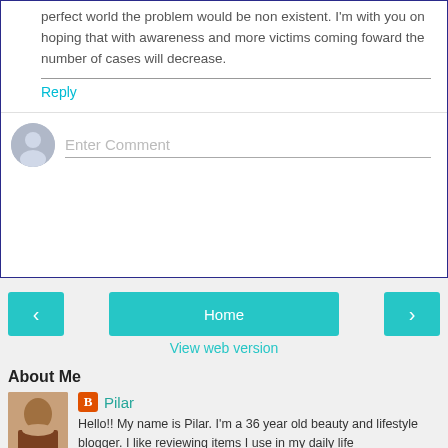perfect world the problem would be non existent. I'm with you on hoping that with awareness and more victims coming foward the number of cases will decrease.
Reply
Enter Comment
Home
View web version
About Me
Pilar
Hello!! My name is Pilar. I'm a 36 year old beauty and lifestyle blogger. I like reviewing items I use in my daily life